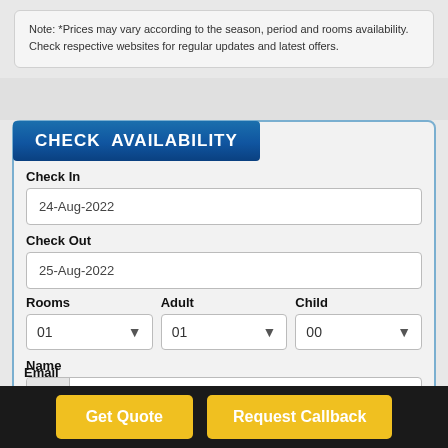Note: *Prices may vary according to the season, period and rooms availability. Check respective websites for regular updates and latest offers.
CHECK AVAILABILITY
Check In
24-Aug-2022
Check Out
25-Aug-2022
Rooms
01
Adult
01
Child
00
Name
Email
Get Quote
Request Callback